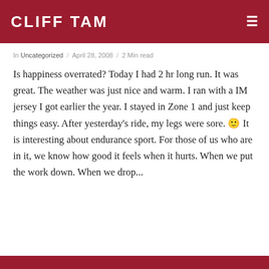CLIFF TAM
In Uncategorized / April 28, 2008 / 2 Min read
Is happiness overrated? Today I had 2 hr long run. It was great. The weather was just nice and warm. I ran with a IM jersey I got earlier the year. I stayed in Zone 1 and just keep things easy. After yesterday's ride, my legs were sore. 🙂 It is interesting about endurance sport. For those of us who are in it, we know how good it feels when it hurts. When we put the work down. When we drop...